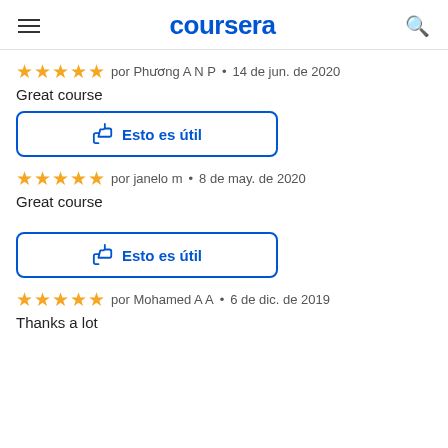coursera
★★★★★  por Phương A N P  •  14 de jun. de 2020
Great course
[Figure (screenshot): Button labeled 'Esto es útil' with thumbs-up icon, blue border]
★★★★★  por janelo m  •  8 de may. de 2020
Great course
[Figure (screenshot): Button labeled 'Esto es útil' with thumbs-up icon, blue border]
★★★★★  por Mohamed A A  •  6 de dic. de 2019
Thanks a lot